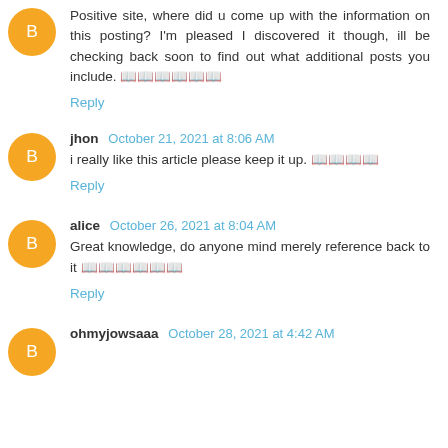Positive site, where did u come up with the information on this posting? I'm pleased I discovered it though, ill be checking back soon to find out what additional posts you include. [link text]
Reply
jhon  October 21, 2021 at 8:06 AM
i really like this article please keep it up. [link text]
Reply
alice  October 26, 2021 at 8:04 AM
Great knowledge, do anyone mind merely reference back to it [link text]
Reply
ohmyjowsaaa  October 28, 2021 at 4:42 AM